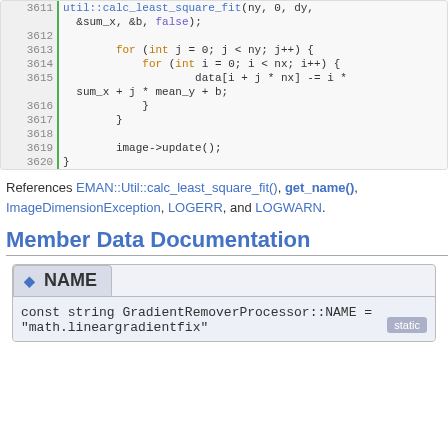[Figure (screenshot): Code block showing lines 3611-3620 of C++ source code with syntax highlighting. Keywords in orange, function calls in blue, line numbers in grey with green border.]
References EMAN::Util::calc_least_square_fit(), get_name(), ImageDimensionException, LOGERR, and LOGWARN.
Member Data Documentation
◆ NAME
const string GradientRemoverProcessor::NAME = "math.lineargradientfix" [static]